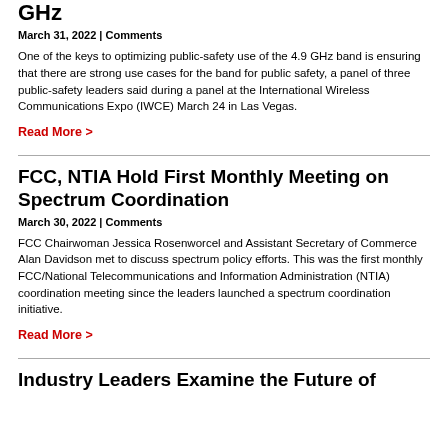GHz
March 31, 2022 | Comments
One of the keys to optimizing public-safety use of the 4.9 GHz band is ensuring that there are strong use cases for the band for public safety, a panel of three public-safety leaders said during a panel at the International Wireless Communications Expo (IWCE) March 24 in Las Vegas.
Read More >
FCC, NTIA Hold First Monthly Meeting on Spectrum Coordination
March 30, 2022 | Comments
FCC Chairwoman Jessica Rosenworcel and Assistant Secretary of Commerce Alan Davidson met to discuss spectrum policy efforts. This was the first monthly FCC/National Telecommunications and Information Administration (NTIA) coordination meeting since the leaders launched a spectrum coordination initiative.
Read More >
Industry Leaders Examine the Future of